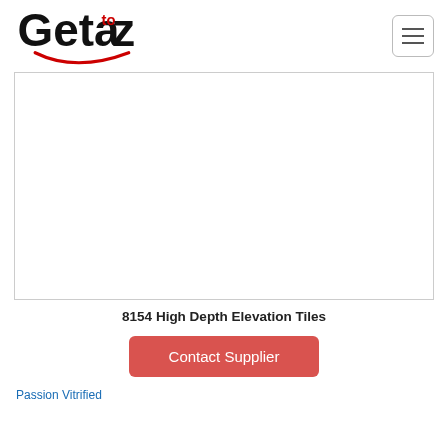[Figure (logo): Getaztoz logo with red 'to' superscript and red smile arc beneath]
[Figure (other): Hamburger menu button (three horizontal lines) in a rounded rectangle border]
[Figure (photo): Large white/empty product image area for 8154 High Depth Elevation Tiles]
8154 High Depth Elevation Tiles
Contact Supplier
Passion Vitrified